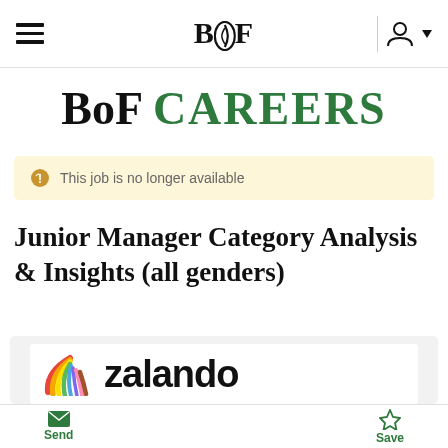BoF
BoF CAREERS
This job is no longer available
Junior Manager Category Analysis & Insights (all genders)
[Figure (logo): Zalando logo with rainbow stripe icon and 'zalando' wordmark]
Send  Save